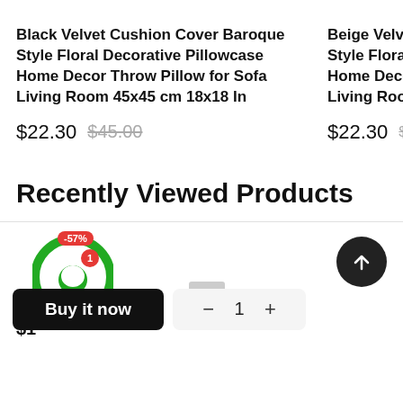Black Velvet Cushion Cover Baroque Style Floral Decorative Pillowcase Home Decor Throw Pillow for Sofa Living Room 45x45 cm 18x18 In
$22.30  $45.00
Beige Velvet Cu Style Floral Deco Home Decor Th Living Room 45.
$22.30  $45.00
Recently Viewed Products
$1
[Figure (other): Green chat widget icon with red discount badge showing -57% and red notification badge with number 1]
[Figure (other): Scroll to top button: dark circular button with upward arrow]
[Figure (other): Quantity selector showing minus, 1, plus buttons and a Buy it now black button]